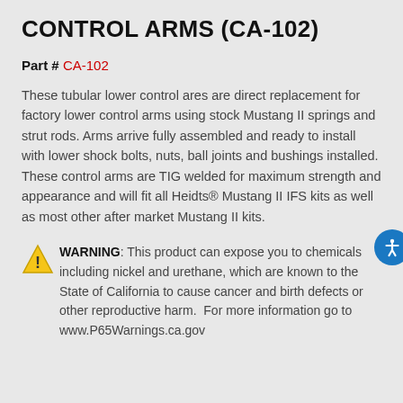CONTROL ARMS (CA-102)
Part # CA-102
These tubular lower control ares are direct replacement for factory lower control arms using stock Mustang II springs and strut rods. Arms arrive fully assembled and ready to install with lower shock bolts, nuts, ball joints and bushings installed. These control arms are TIG welded for maximum strength and appearance and will fit all Heidts® Mustang II IFS kits as well as most other after market Mustang II kits.
WARNING: This product can expose you to chemicals including nickel and urethane, which are known to the State of California to cause cancer and birth defects or other reproductive harm. For more information go to www.P65Warnings.ca.gov